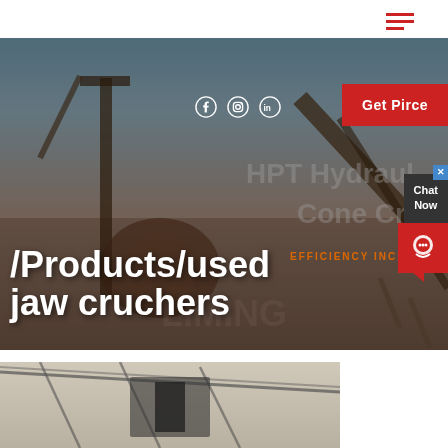[Figure (screenshot): Website header with hamburger menu icon (two red lines) on white background top bar]
[Figure (photo): Hero section with industrial mining/crushing equipment (jaw crusher facility) in outdoor setting with blue sky. Overlaid text and UI elements including social media icons (Facebook, Instagram, LinkedIn), a red 'Get Pirce' button, watermark text 'HPT Hydraulic Cone Crusher' and 'EFFICIENCY INCREASE', main headline '/Products/used jaw cruchers' in white bold text, and a chat widget on the right side.]
[Figure (photo): Partial bottom image showing interior of industrial building with steel structure/trusses visible]